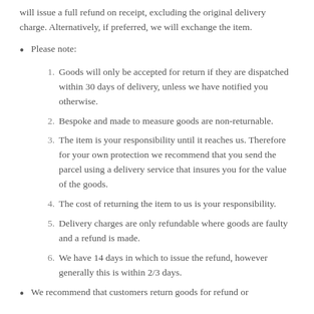will issue a full refund on receipt, excluding the original delivery charge. Alternatively, if preferred, we will exchange the item.
Please note:
1. Goods will only be accepted for return if they are dispatched within 30 days of delivery, unless we have notified you otherwise.
2. Bespoke and made to measure goods are non-returnable.
3. The item is your responsibility until it reaches us. Therefore for your own protection we recommend that you send the parcel using a delivery service that insures you for the value of the goods.
4. The cost of returning the item to us is your responsibility.
5. Delivery charges are only refundable where goods are faulty and a refund is made.
6. We have 14 days in which to issue the refund, however generally this is within 2/3 days.
We recommend that customers return goods for refund or